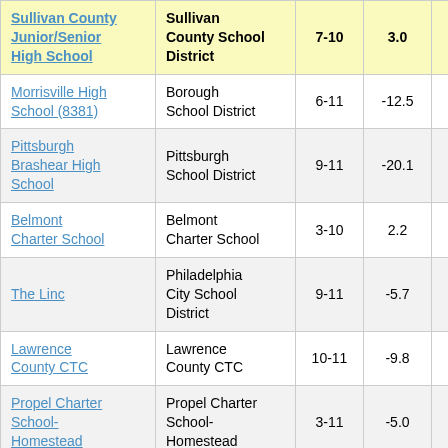| School | District | Grades | Score |  |
| --- | --- | --- | --- | --- |
| Sullivan County Junior/Senior High School | Sullivan County School District | 7-10 | 3.0 |  |
| Morrisville High School (8381) | Borough School District | 6-11 | -12.5 |  |
| Pittsburgh Brashear High School | Pittsburgh School District | 9-11 | -20.1 |  |
| Belmont Charter School | Belmont Charter School | 3-10 | 2.2 |  |
| The Linc | Philadelphia City School District | 9-11 | -5.7 |  |
| Lawrence County CTC | Lawrence County CTC | 10-11 | -9.8 |  |
| Propel Charter School-Homestead | Propel Charter School-Homestead | 3-11 | -5.0 |  |
|  |  |  |  |  |